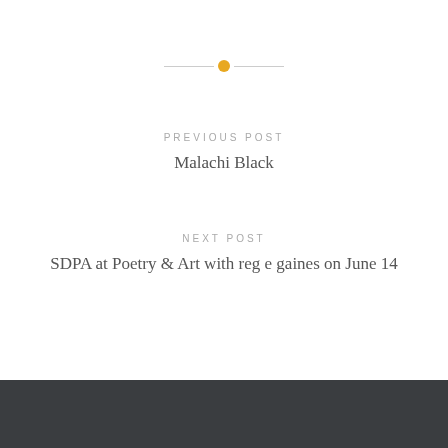[Figure (other): Decorative horizontal divider with a golden/amber circle dot centered between two gray lines]
PREVIOUS POST
Malachi Black
NEXT POST
SDPA at Poetry & Art with reg e gaines on June 14